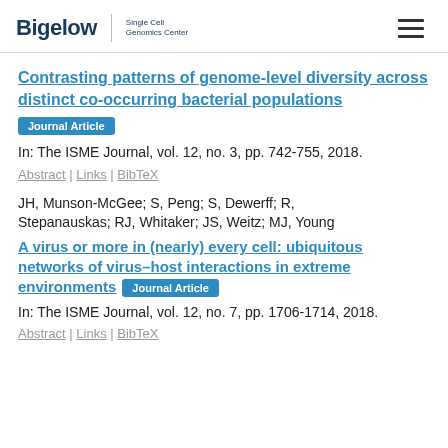Bigelow | Single Cell Genomics Center
Contrasting patterns of genome-level diversity across distinct co-occurring bacterial populations
Journal Article
In: The ISME Journal, vol. 12, no. 3, pp. 742-755, 2018.
Abstract | Links | BibTeX
JH, Munson-McGee; S, Peng; S, Dewerff; R, Stepanauskas; RJ, Whitaker; JS, Weitz; MJ, Young
A virus or more in (nearly) every cell: ubiquitous networks of virus–host interactions in extreme environments
Journal Article
In: The ISME Journal, vol. 12, no. 7, pp. 1706-1714, 2018.
Abstract | Links | BibTeX